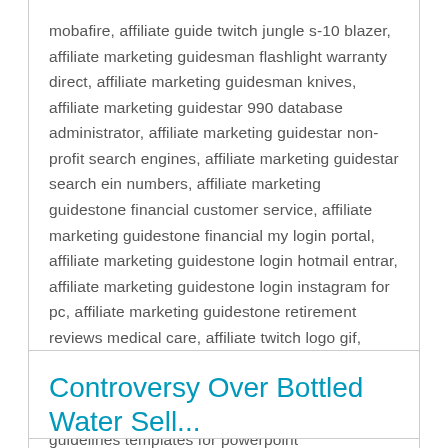mobafire, affiliate guide twitch jungle s-10 blazer, affiliate marketing guidesman flashlight warranty direct, affiliate marketing guidesman knives, affiliate marketing guidestar 990 database administrator, affiliate marketing guidestar non-profit search engines, affiliate marketing guidestar search ein numbers, affiliate marketing guidestone financial customer service, affiliate marketing guidestone financial my login portal, affiliate marketing guidestone login hotmail entrar, affiliate marketing guidestone login instagram for pc, affiliate marketing guidestone retirement reviews medical care, affiliate twitch logo gif, affiliate twitch picture dimensions editor, pinterest affiliate marketing guidelines hdc crochet instructions, pinterest affiliate marketing guidelines templates for powerpoint
Controversy Over Bottled Water Sell...